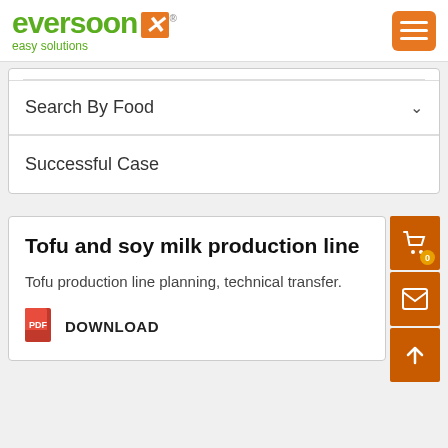[Figure (logo): Eversoon easy solutions logo with green text and orange X icon]
Search By Food
Successful Case
Tofu and soy milk production line
Tofu production line planning, technical transfer.
DOWNLOAD